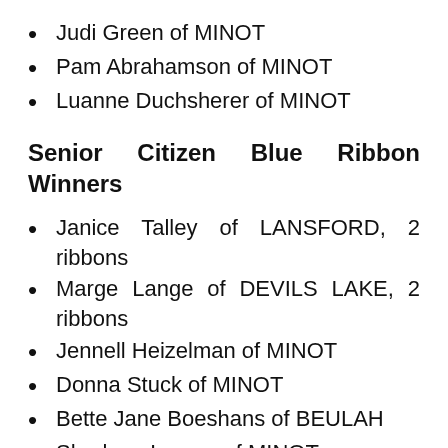Judi Green of MINOT
Pam Abrahamson of MINOT
Luanne Duchsherer of MINOT
Senior Citizen Blue Ribbon Winners
Janice Talley of LANSFORD, 2 ribbons
Marge Lange of DEVILS LAKE, 2 ribbons
Jennell Heizelman of MINOT
Donna Stuck of MINOT
Bette Jane Boeshans of BEULAH
Sharleen Larson of MINOT